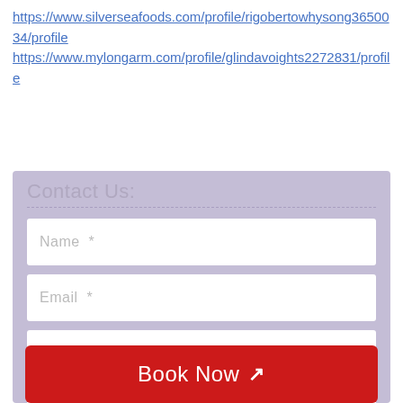https://www.silverseafoods.com/profile/rigobertowhysong3650034/profile
https://www.mylongarm.com/profile/glindavoights2272831/profile
[Figure (other): Contact Us form with fields for Name, Email, Subject, and Message, and a red Book Now button at the bottom, on a lavender/purple background.]